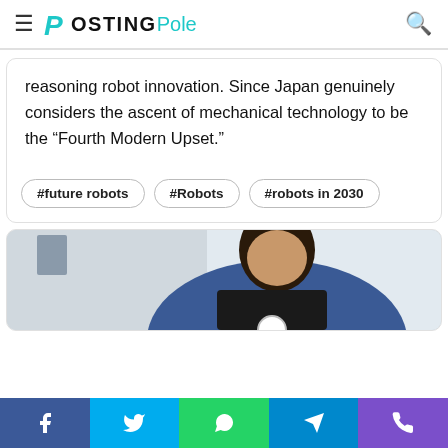PostingPole
reasoning robot innovation. Since Japan genuinely considers the ascent of mechanical technology to be the “Fourth Modern Upset.”
#future robots
#Robots
#robots in 2030
[Figure (photo): Woman in blue top leaning over a device, office/whiteboard background]